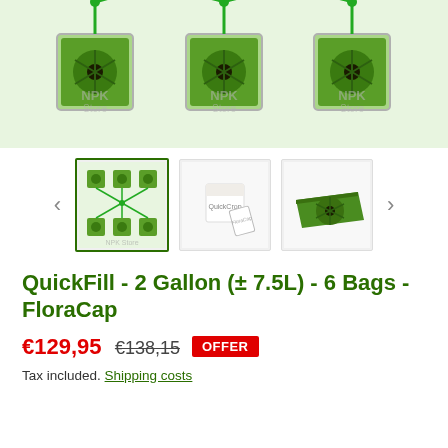[Figure (photo): Main product image showing three QuickFill grow bags with FloraCap lids from above, connected by green tubes, watermarked with NPK Store logo, on a light green background.]
[Figure (photo): Thumbnail 1 (selected): Top-down diagram showing six QuickFill grow bags arranged in two rows connected by green lines, on a light green background with NPK Store watermark.]
[Figure (photo): Thumbnail 2: Product box showing QuickCrop branding with a FloraCap lid leaning against it.]
[Figure (photo): Thumbnail 3: A single green FloraCap tray/lid viewed from an angle.]
QuickFill - 2 Gallon (± 7.5L) - 6 Bags - FloraCap
€129,95  €138,15  OFFER
Tax included. Shipping costs